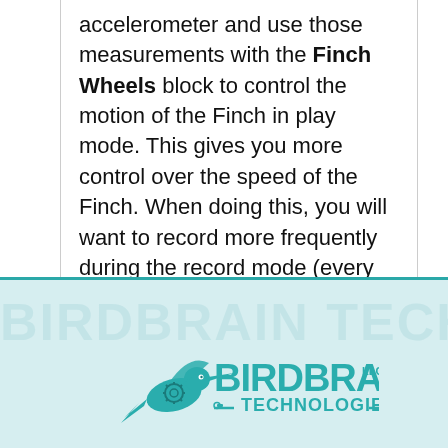accelerometer and use those measurements with the Finch Wheels block to control the motion of the Finch in play mode. This gives you more control over the speed of the Finch. When doing this, you will want to record more frequently during the record mode (every 0.1 s) so that the speed changes more smoothly in play mode.
[Figure (logo): BirdBrain Technologies logo with hummingbird illustration in teal color]